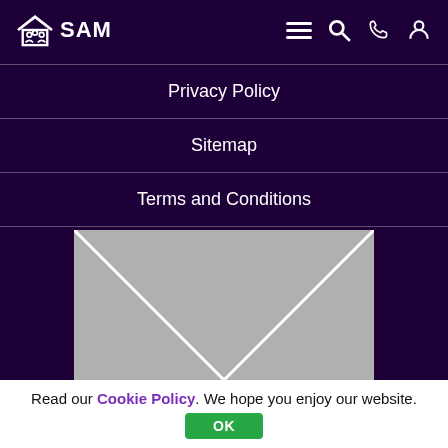SAM — navigation bar with logo and icons (menu, search, phone, account)
Privacy Policy
Sitemap
Terms and Conditions
[Figure (illustration): Envelope graphic — grey rectangle with two diagonal white lines from top corners meeting at bottom center, resembling a closed envelope flap.]
Read our Cookie Policy. We hope you enjoy our website.
OK